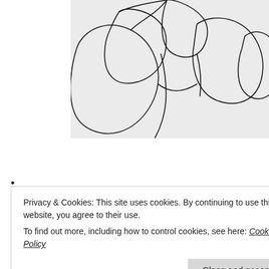[Figure (illustration): A line drawing illustration showing abstract flowing organic shapes resembling flower petals or leaves, rendered in black ink on a light grey background. The drawing is cropped and shows curving, overlapping forms.]
•
Privacy & Cookies: This site uses cookies. By continuing to use this website, you agree to their use.
To find out more, including how to control cookies, see here: Cookie Policy
Close and accept